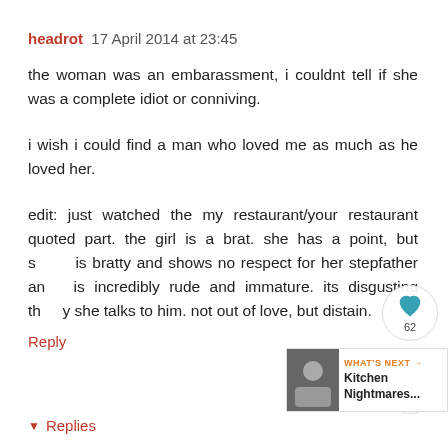headrot  17 April 2014 at 23:45
the woman was an embarassment, i couldnt tell if she was a complete idiot or conniving.
i wish i could find a man who loved me as much as he loved her.
edit: just watched the my restaurant/your restaurant quoted part. the girl is a brat. she has a point, but she is bratty and shows no respect for her stepfather and is incredibly rude and immature. its disgusting the way she talks to him. not out of love, but distain.
Reply
Replies